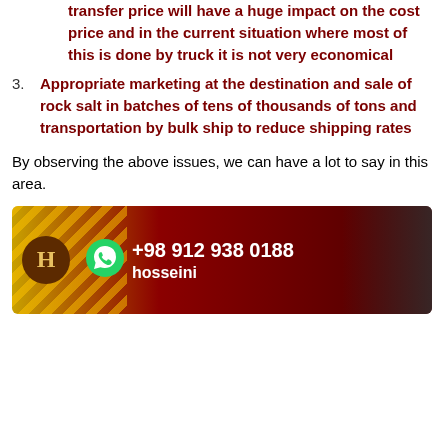transfer price will have a huge impact on the cost price and in the current situation where most of this is done by truck it is not very economical
3. Appropriate marketing at the destination and sale of rock salt in batches of tens of thousands of tons and transportation by bulk ship to reduce shipping rates
By observing the above issues, we can have a lot to say in this area.
[Figure (other): Advertisement banner with dark red and gold background, diagonal stripe pattern, circular H logo, WhatsApp icon, phone number +98 912 938 0188 and name hosseini]